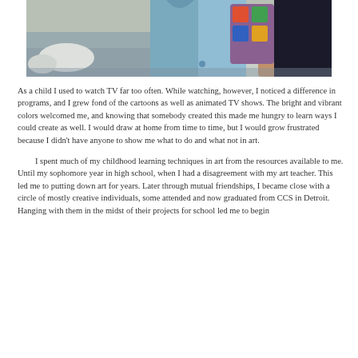[Figure (photo): Photo of a person wearing a light blue denim jacket and carrying a colorful backpack, standing outdoors near water and autumn foliage. A light-colored pickup truck is visible in the background.]
As a child I used to watch TV far too often. While watching, however, I noticed a difference in programs, and I grew fond of the cartoons as well as animated TV shows. The bright and vibrant colors welcomed me, and knowing that somebody created this made me hungry to learn ways I could create as well. I would draw at home from time to time, but I would grow frustrated because I didn't have anyone to show me what to do and what not in art.
I spent much of my childhood learning techniques in art from the resources available to me. Until my sophomore year in high school, when I had a disagreement with my art teacher. This led me to putting down art for years. Later through mutual friendships, I became close with a circle of mostly creative individuals, some attended and now graduated from CCS in Detroit. Hanging with them in the midst of their projects for school led me to begin